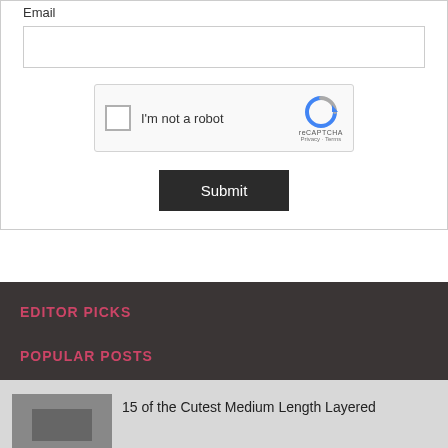Email
[Figure (screenshot): reCAPTCHA widget with checkbox labeled 'I'm not a robot' and reCAPTCHA logo with Privacy and Terms links]
Submit
EDITOR PICKS
POPULAR POSTS
15 of the Cutest Medium Length Layered